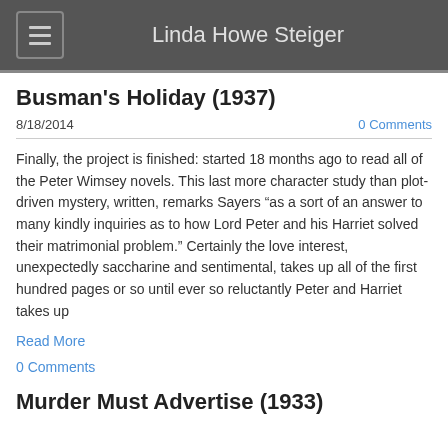Linda Howe Steiger
Busman's Holiday (1937)
8/18/2014
0 Comments
Finally, the project is finished: started 18 months ago to read all of the Peter Wimsey novels. This last more character study than plot-driven mystery, written, remarks Sayers “as a sort of an answer to many kindly inquiries as to how Lord Peter and his Harriet solved their matrimonial problem.” Certainly the love interest, unexpectedly saccharine and sentimental, takes up all of the first hundred pages or so until ever so reluctantly Peter and Harriet takes up
Read More
0 Comments
Murder Must Advertise (1933)